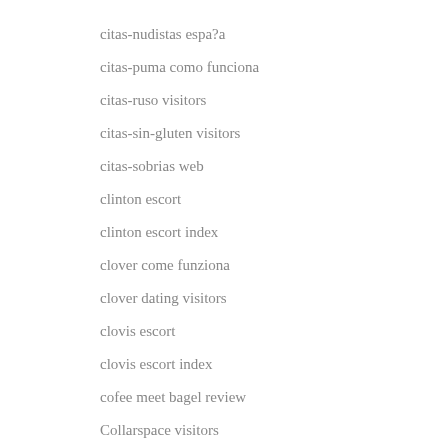citas-nudistas espa?a
citas-puma como funciona
citas-ruso visitors
citas-sin-gluten visitors
citas-sobrias web
clinton escort
clinton escort index
clover come funziona
clover dating visitors
clovis escort
clovis escort index
cofee meet bagel review
Collarspace visitors
college essay writing